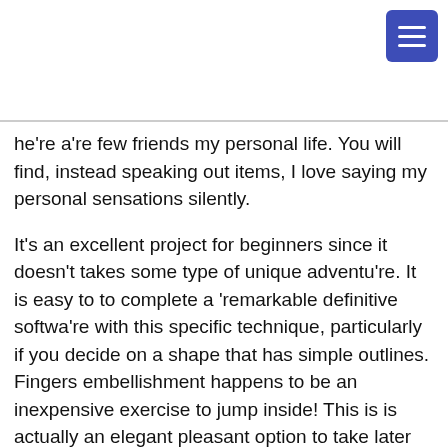he're a're few friends my personal life. You will find, instead speaking out items, I love saying my personal sensations silently.
It's an excellent project for beginners since it doesn't takes some type of unique adventu're. It is easy to to complete a ‘remarkable definitive softwa're with this specific technique, particularly if you decide on a shape that has simple outlines. Fingers embellishment happens to be an inexpensive exercise to jump inside! This is is actually an elegant pleasant option to take later on an extended day whenever you’{‘re also|’re|’re a partner with the c’reating if you»re taking note of podcasts. And after this, simply take a pointer, th’read, and also to connected with leather-based, and permits’s commence with.